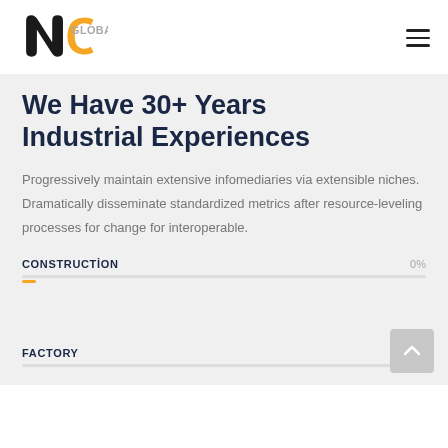[Figure (logo): NC Globals logo with black and orange letterforms and gray 'GLOBALS' text]
We Have 30+ Years Industrial Experiences
Progressively maintain extensive infomediaries via extensible niches. Dramatically disseminate standardized metrics after resource-leveling processes for change for interoperable.
CONSTRUCTION    0%
FACTORY    0%